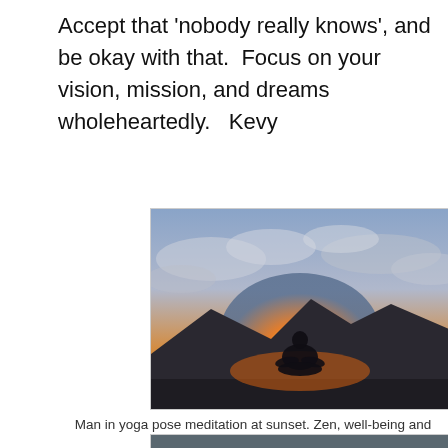Accept that 'nobody really knows', and be okay with that.  Focus on your vision, mission, and dreams wholeheartedly.   Kevy
[Figure (photo): Man sitting in yoga/meditation pose silhouetted against a dramatic sunset sky with mountains in the background, orange and golden light glowing around the figure.]
Man in yoga pose meditation at sunset. Zen, well-being and body care
[Figure (photo): Partial view of another photo at the bottom of the page, cropped off.]